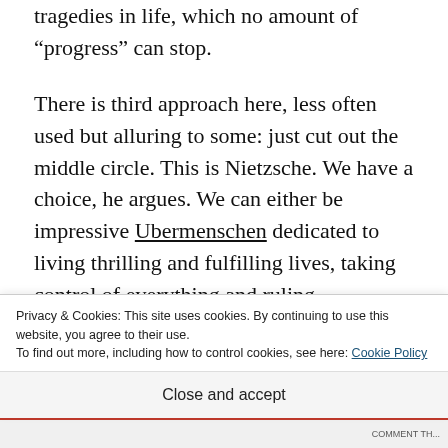tragedies in life, which no amount of “progress” can stop.
There is third approach here, less often used but alluring to some: just cut out the middle circle. This is Nietzsche. We have a choice, he argues. We can either be impressive Ubermenschen dedicated to living thrilling and fulfilling lives, taking control of everything and ruling nobly over our feeble weaknesses...
Privacy & Cookies: This site uses cookies. By continuing to use this website, you agree to their use.
To find out more, including how to control cookies, see here: Cookie Policy
Close and accept